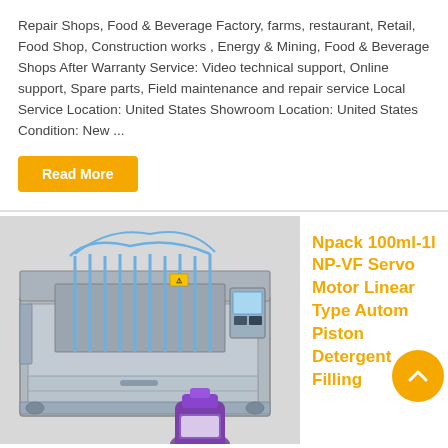Repair Shops, Food & Beverage Factory, farms, restaurant, Retail, Food Shop, Construction works , Energy & Mining, Food & Beverage Shops After Warranty Service: Video technical support, Online support, Spare parts, Field maintenance and repair service Local Service Location: United States Showroom Location: United States Condition: New ...
Read More
[Figure (photo): Industrial liquid filling machine - a large stainless steel linear piston filling machine with multiple filling heads and tubing, with a purple detergent bottle visible in the foreground.]
Npack 100ml-1l NP-VF Servo Motor Linear Type Automatic Piston Detergent Filling